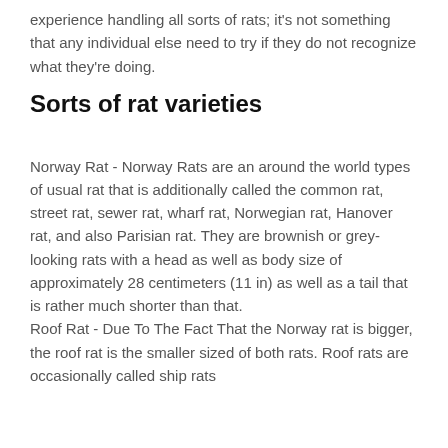experience handling all sorts of rats; it's not something that any individual else need to try if they do not recognize what they're doing.
Sorts of rat varieties
Norway Rat - Norway Rats are an around the world types of usual rat that is additionally called the common rat, street rat, sewer rat, wharf rat, Norwegian rat, Hanover rat, and also Parisian rat. They are brownish or grey-looking rats with a head as well as body size of approximately 28 centimeters (11 in) as well as a tail that is rather much shorter than that.
Roof Rat - Due To The Fact That the Norway rat is bigger, the roof rat is the smaller sized of both rats. Roof rats are occasionally called ship rats